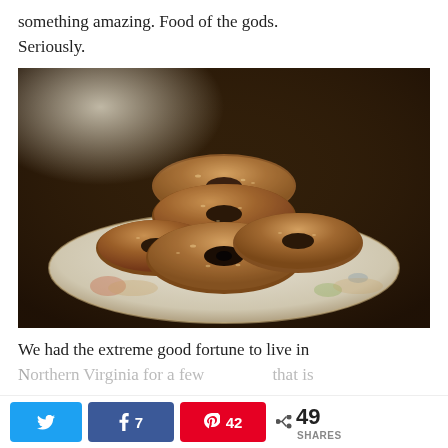something amazing. Food of the gods. Seriously.
[Figure (photo): A plate of cinnamon-sugar coated donuts stacked on a decorative plate on a dark wooden table.]
We had the extreme good fortune to live in Northern Virginia for a few years, and that is
Twitter share | Facebook 7 | Pinterest 42 | Share 49 SHARES